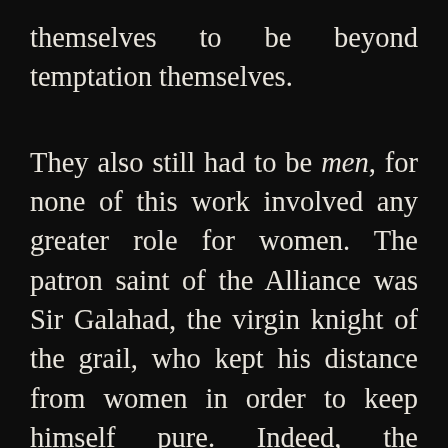themselves to be beyond temptation themselves.
They also still had to be men, for none of this work involved any greater role for women. The patron saint of the Alliance was Sir Galahad, the virgin knight of the grail, who kept his distance from women in order to keep himself pure. Indeed, the chivalrous hero was still the dominant motif of conjoint male purity. Its variant of manliness demanded internal self-restraint, but also accepted fewer external constraints upon its will